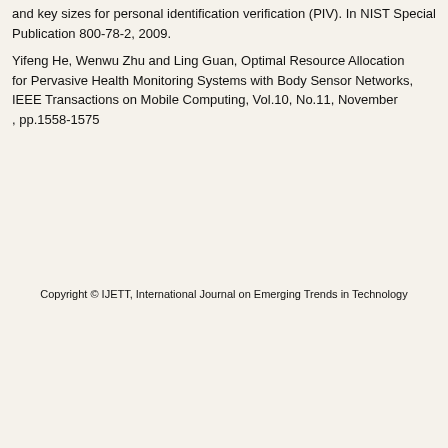and key sizes for personal identification verification (PIV). In NIST Special Publication 800-78-2, 2009.
Yifeng He, Wenwu Zhu and Ling Guan, Optimal Resource Allocation for Pervasive Health Monitoring Systems with Body Sensor Networks, IEEE Transactions on Mobile Computing, Vol.10, No.11, November , pp.1558-1575
Copyright © IJETT, International Journal on Emerging Trends in Technology